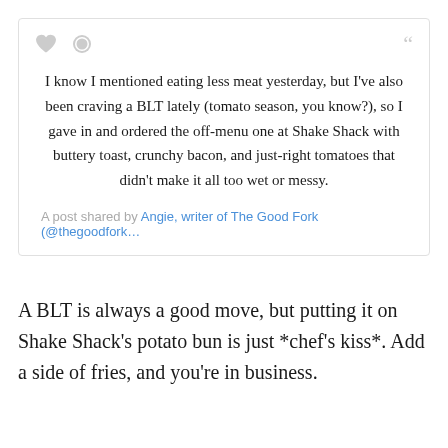[Figure (screenshot): Social media post card with like, comment, and share icons at top, containing a centered text post about eating a BLT at Shake Shack, attributed to Angie, writer of The Good Fork (@thegoodfork...)]
A BLT is always a good move, but putting it on Shake Shack's potato bun is just *chef's kiss*. Add a side of fries, and you're in business.